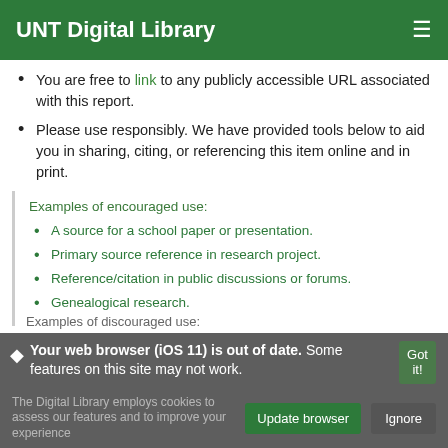UNT Digital Library
You are free to link to any publicly accessible URL associated with this report.
Please use responsibly. We have provided tools below to aid you in sharing, citing, or referencing this item online and in print.
Examples of encouraged use:
A source for a school paper or presentation.
Primary source reference in research project.
Reference/citation in public discussions or forums.
Genealogical research.
Examples of discouraged use:
Your web browser (iOS 11) is out of date. Some features on this site may not work.
The Digital Library employs cookies to assess our features and to improve your experience